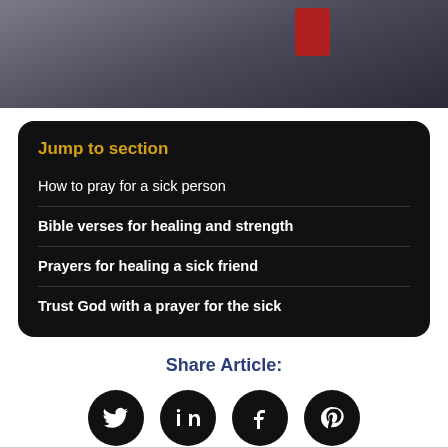[Figure (photo): Person wearing dark clothing with a red element visible, cropped photo strip at top of page]
Jump to section
How to pray for a sick person
Bible verses for healing and strength
Prayers for healing a sick friend
Trust God with a prayer for the sick
Share Article:
[Figure (illustration): Four social media icons: Twitter, LinkedIn, Facebook, Pinterest — white icons on black circular backgrounds]